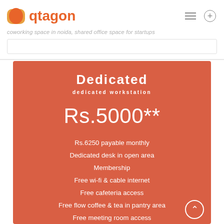qtagon — coworking space in noida, shared office space for startups
Dedicated
dedicated workstation
Rs.5000**
Rs.6250 payable monthly
Dedicated desk in open area
Membership
Free wi-fi & cable internet
Free cafeteria access
Free flow coffee & tea in pantry area
Free meeting room access